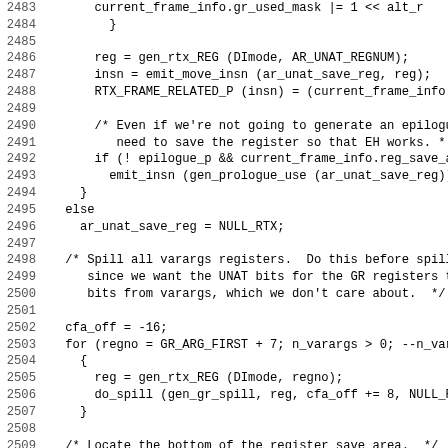[Figure (other): Source code listing (C programming language) with line numbers 2483-2514, showing code related to frame info, register saving, varargs spilling, and CFA offset calculations.]